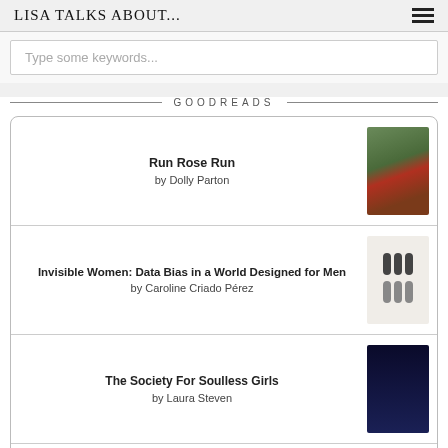LISA TALKS ABOUT...
Type some keywords...
GOODREADS
Run Rose Run
by Dolly Parton
Invisible Women: Data Bias in a World Designed for Men
by Caroline Criado Pérez
The Society For Soulless Girls
by Laura Steven
Her Majesty's Royal Coven
by Juno Dawson